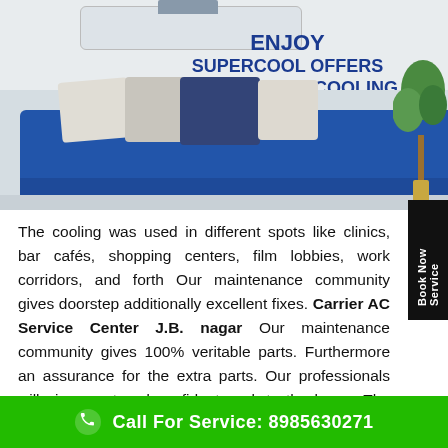[Figure (photo): Advertisement image showing a split AC unit mounted on wall with text 'ENJOY SUPERCOOL OFFERS ON ADVANCED COOLING' and logos for India's First 4-IN-1 Inverter AC with FlexiCool technology. A blue sofa with cushions is visible in the foreground with a green plant on the right.]
The cooling was used in different spots like clinics, bars, cafés, shopping centers, film lobbies, work corridors, and so forth Our maintenance community gives doorstep additionally excellent fixes. Carrier AC Service Center J.B. nagar Our maintenance community gives 100% veritable parts. Furthermore an assurance for the extra parts. Our professionals will give great and confident work to the buyer. The Carrier Company recommends after sale service.
Call For Service: 8985630271